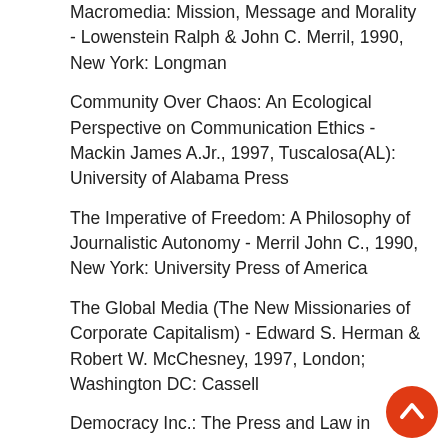Macromedia: Mission, Message and Morality - Lowenstein Ralph & John C. Merril, 1990, New York: Longman
Community Over Chaos: An Ecological Perspective on Communication Ethics - Mackin James A.Jr., 1997, Tuscalosa(AL): University of Alabama Press
The Imperative of Freedom: A Philosophy of Journalistic Autonomy - Merril John C., 1990, New York: University Press of America
The Global Media (The New Missionaries of Corporate Capitalism) - Edward S. Herman & Robert W. McChesney, 1997, London; Washington DC: Cassell
Democracy Inc.: The Press and Law in